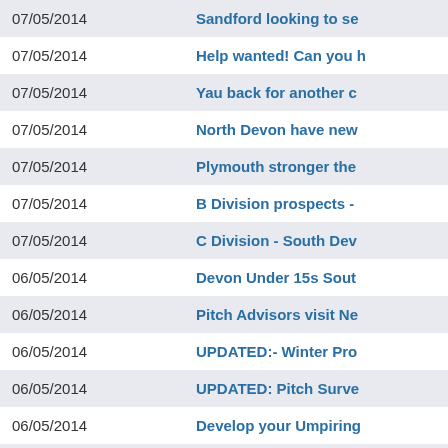| Date | Title |
| --- | --- |
| 07/05/2014 | Sandford looking to se… |
| 07/05/2014 | Help wanted! Can you h… |
| 07/05/2014 | Yau back for another c… |
| 07/05/2014 | North Devon have new… |
| 07/05/2014 | Plymouth stronger the… |
| 07/05/2014 | B Division prospects -… |
| 07/05/2014 | C Division - South Dev… |
| 06/05/2014 | Devon Under 15s Sout… |
| 06/05/2014 | Pitch Advisors visit Ne… |
| 06/05/2014 | UPDATED:- Winter Pro… |
| 06/05/2014 | UPDATED: Pitch Surve… |
| 06/05/2014 | Develop your Umpiring… |
| 06/05/2014 | Lady Taverners School… |
| 06/05/2014 | England starlet Knight… |
| 06/05/2014 |  |